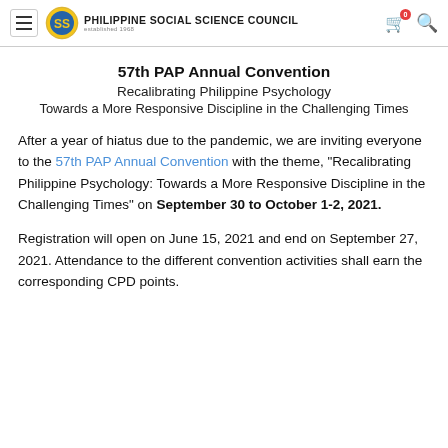Philippine Social Science Council
57th PAP Annual Convention
Recalibrating Philippine Psychology
Towards a More Responsive Discipline in the Challenging Times
After a year of hiatus due to the pandemic, we are inviting everyone to the 57th PAP Annual Convention with the theme, "Recalibrating Philippine Psychology: Towards a More Responsive Discipline in the Challenging Times" on September 30 to October 1-2, 2021.
Registration will open on June 15, 2021 and end on September 27, 2021. Attendance to the different convention activities shall earn the corresponding CPD points.